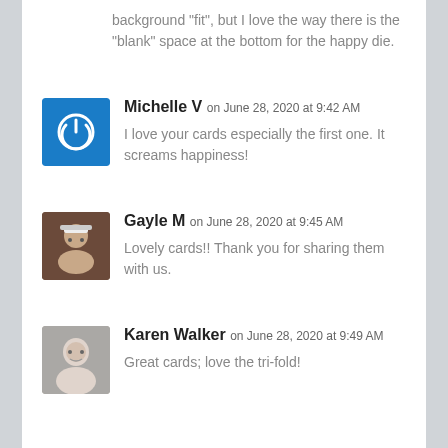background "fit", but I love the way there is the "blank" space at the bottom for the happy die.
Michelle V on June 28, 2020 at 9:42 AM
I love your cards especially the first one. It screams happiness!
Gayle M on June 28, 2020 at 9:45 AM
Lovely cards!! Thank you for sharing them with us.
Karen Walker on June 28, 2020 at 9:49 AM
Great cards; love the tri-fold!